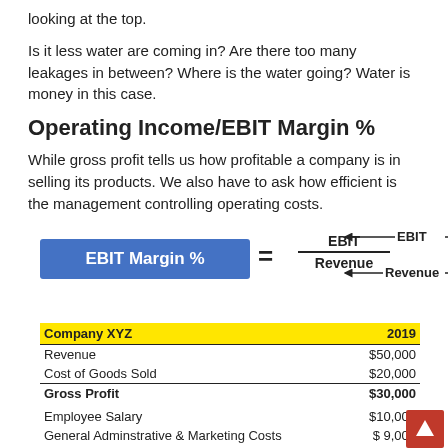looking at the top.
Is it less water are coming in? Are there too many leakages in between? Where is the water going? Water is money in this case.
Operating Income/EBIT Margin %
While gross profit tells us how profitable a company is in selling its products. We also have to ask how efficient is the management controlling operating costs.
[Figure (infographic): EBIT Margin % formula showing EBIT divided by Revenue, with arrows pointing to EBIT and Revenue labels on the right side of the fraction.]
| Company XYZ | 2019 |
| --- | --- |
| Revenue | $50,000 |
| Cost of Goods Sold | $20,000 |
| Gross Profit | $30,000 |
| Employee Salary | $10,000 |
| General Adminstrative & Marketing Costs | $ 9,000 |
| Office Rental | $ 2,500 |